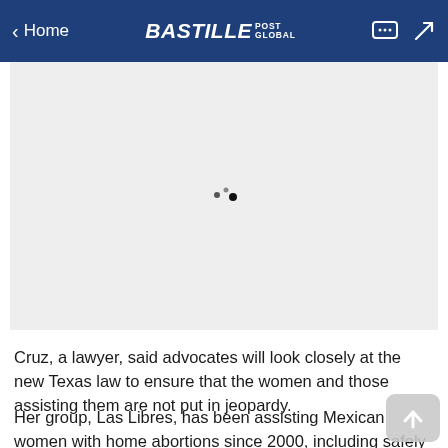< Home  BASTILLE POST GLOBAL
[Figure (photo): Loading image placeholder — light gray rectangle with a small cursor/spinner icon near the center]
Cruz, a lawyer, said advocates will look closely at the new Texas law to ensure that the women and those assisting them are not put in jeopardy.
Her group, Las Libres, has been assisting Mexican women with home abortions since 2000, including safely getting the